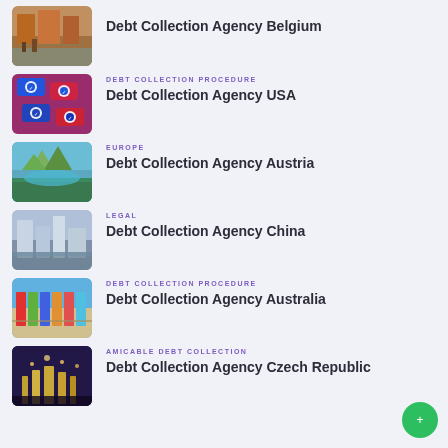[Figure (photo): Street scene with buildings - Belgium thumbnail]
Debt Collection Agency Belgium
[Figure (photo): Blue payment/credit cards with check marks - USA thumbnail]
DEBT COLLECTION PROCEDURE
Debt Collection Agency USA
[Figure (photo): Mountain lake landscape - Austria thumbnail]
EUROPE
Debt Collection Agency Austria
[Figure (photo): Modern city buildings waterfront - China thumbnail]
LEGAL
Debt Collection Agency China
[Figure (photo): Colorful beach huts - Australia thumbnail]
DEBT COLLECTION PROCEDURE
Debt Collection Agency Australia
[Figure (photo): City night skyline - Czech Republic thumbnail]
AMICABLE DEBT COLLECTION
Debt Collection Agency Czech Republic